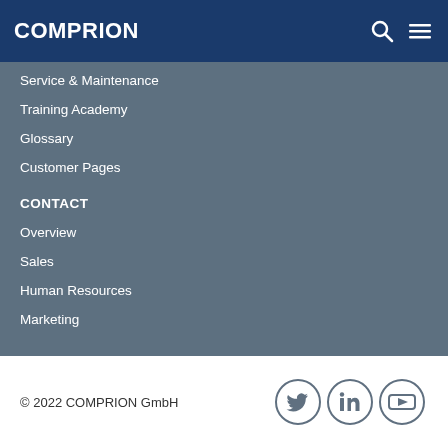COMPRION
Service & Maintenance
Training Academy
Glossary
Customer Pages
CONTACT
Overview
Sales
Human Resources
Marketing
© 2022 COMPRION GmbH
Home | Impressum | Privacy Policy | Terms & Conditions | Sitemap | OS-Plattform | Shop FAQs | RSS